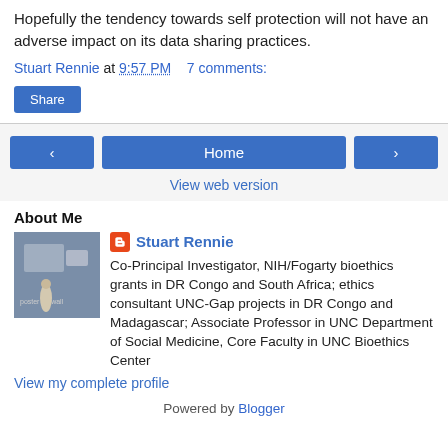Hopefully the tendency towards self protection will not have an adverse impact on its data sharing practices.
Stuart Rennie at 9:57 PM   7 comments:
Share
Home
View web version
About Me
Stuart Rennie
Co-Principal Investigator, NIH/Fogarty bioethics grants in DR Congo and South Africa; ethics consultant UNC-Gap projects in DR Congo and Madagascar; Associate Professor in UNC Department of Social Medicine, Core Faculty in UNC Bioethics Center
View my complete profile
Powered by Blogger